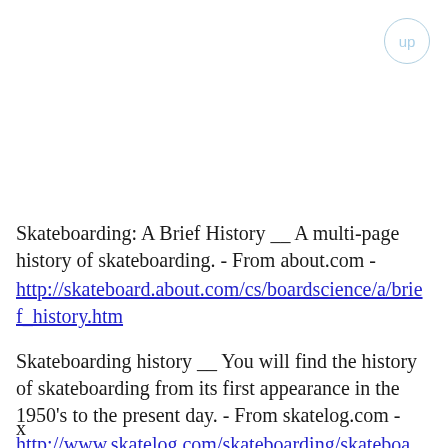[Figure (other): Small circular 'up' button in the top-right corner with light blue border and text]
Skateboarding: A Brief History __ A multi-page history of skateboarding. - From about.com -
http://skateboard.about.com/cs/boardscience/a/brief_history.htm
Skateboarding history __ You will find the history of skateboarding from its first appearance in the 1950's to the present day. - From skatelog.com -
http://www.skatelog.com/skateboarding/skateboarding-history.htm
x